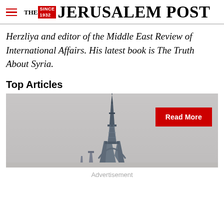THE JERUSALEM POST
Herzliya and editor of the Middle East Review of International Affairs. His latest book is The Truth About Syria.
Top Articles
[Figure (photo): Photo of the Eiffel Tower in Paris against a grey hazy sky, with a red 'Read More' button overlay in the upper right corner.]
Advertisement